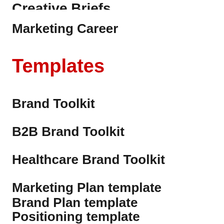Creative Briefs
Marketing Career
Templates
Brand Toolkit
B2B Brand Toolkit
Healthcare Brand Toolkit
Marketing Plan template
Brand Plan template
Positioning template